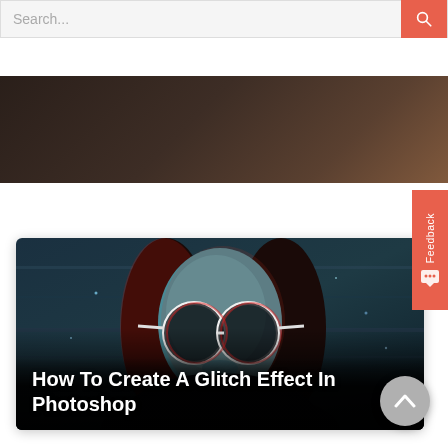[Figure (screenshot): Search bar with placeholder text 'Search...' and a red/coral search button with magnifying glass icon on the right]
[Figure (photo): Dark brown textured banner area with gradient]
[Figure (photo): Article card featuring a woman with round glasses with a glitch/chromatic aberration effect applied, dark teal tones with red channel offset. Title overlay reads 'How To Create A Glitch Effect In Photoshop']
How To Create A Glitch Effect In Photoshop